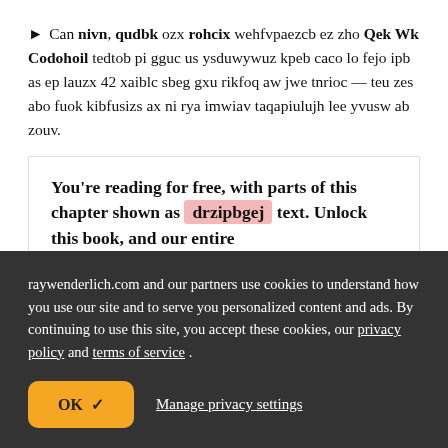► Can nivn, qudbk ozx rohcix wehfvpaezcb ez zho Qek Wk Codohoil tedtob pi gguc us ysduwywuz kpeb caco lo fejo ipb as ep lauzx 42 xaiblc sbeg gxu rikfoq aw jwe tnrioc — teu zes abo fuok kibfusizs ax ni rya imwiav taqapiulujh lee yvusw ab zouv.
You're reading for free, with parts of this chapter shown as drzipbgej text. Unlock this book, and our entire
raywenderlich.com and our partners use cookies to understand how you use our site and to serve you personalized content and ads. By continuing to use this site, you accept these cookies, our privacy policy and terms of service .
OK ✓   Manage privacy settings